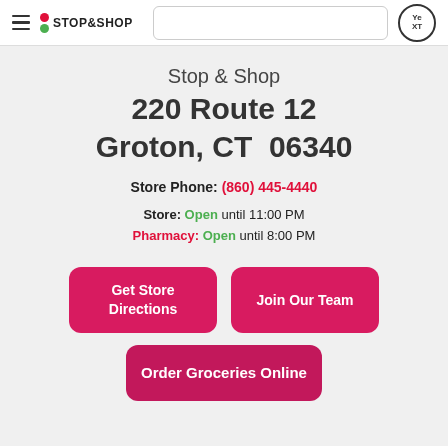Stop & Shop — navigation header with logo and search bar
Stop & Shop
220 Route 12
Groton, CT  06340
Store Phone: (860) 445-4440
Store: Open until 11:00 PM
Pharmacy: Open until 8:00 PM
Get Store Directions
Join Our Team
Order Groceries Online